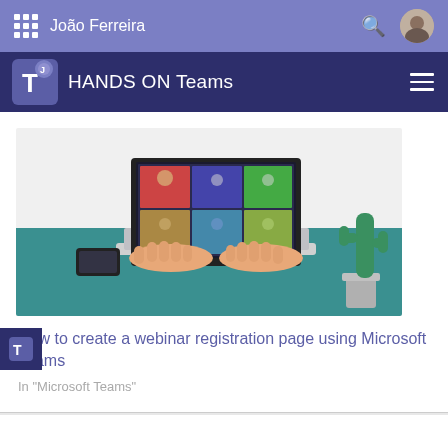João Ferreira
HANDS ON Teams
[Figure (illustration): Illustration of a person typing on a laptop showing a video call with multiple participants, a phone and cactus plant on a teal desk]
How to create a webinar registration page using Microsoft Teams
In "Microsoft Teams"